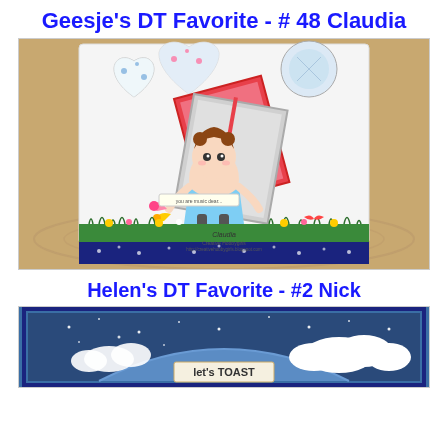Geesje's DT Favorite - # 48 Claudia
[Figure (photo): A handmade craft card featuring a cartoon girl character holding flowers, with heart shapes, floral patterns, grass and butterfly die cuts, displayed standing on a wooden surface. Text reads 'Claudia' and 'http://creativehobbygirls.blogspot.com']
Helen's DT Favorite - #2 Nick
[Figure (photo): A handmade craft card with a dark blue background, white clouds, stars, and a banner reading 'let's TOAST', partially visible at the bottom of the page.]